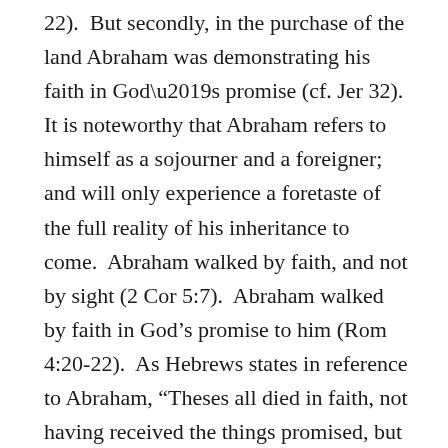22).  But secondly, in the purchase of the land Abraham was demonstrating his faith in God’s promise (cf. Jer 32).  It is noteworthy that Abraham refers to himself as a sojourner and a foreigner; and will only experience a foretaste of the full reality of his inheritance to come.  Abraham walked by faith, and not by sight (2 Cor 5:7).  Abraham walked by faith in God’s promise to him (Rom 4:20-22).  As Hebrews states in reference to Abraham, “Theses all died in faith, not having received the things promised, but